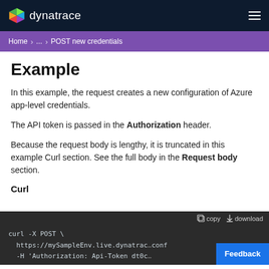dynatrace
Home ... POST new credentials
Example
In this example, the request creates a new configuration of Azure app-level credentials.
The API token is passed in the Authorization header.
Because the request body is lengthy, it is truncated in this example Curl section. See the full body in the Request body section.
Curl
[Figure (screenshot): Code block showing a curl command: curl -X POST \ https://mySampleEnv.live.dynatrac...conf -H 'Authorization: Api-Token dtOc...']